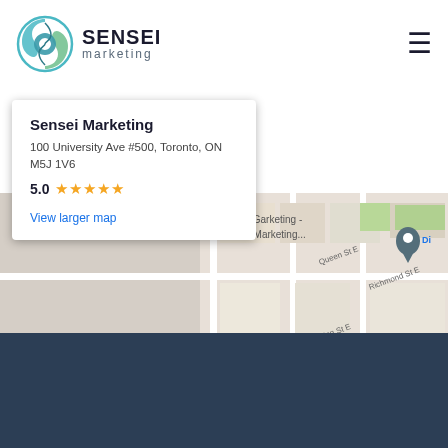[Figure (logo): Sensei Marketing logo with yin-yang style circular icon in blue/green and the text SENSEI marketing]
[Figure (map): Google Maps screenshot showing downtown Toronto area with a red pin marker labeled Sensei Marketing at 100 University Ave #500. Info popup shows address and 5.0 star rating. Map shows streets including King St E, Queen St E, Richmond St E, and landmarks like St. Lawrence Market. Bottom bar shows Keyboard shortcuts, Map data ©2022 Google, Terms of Use.]